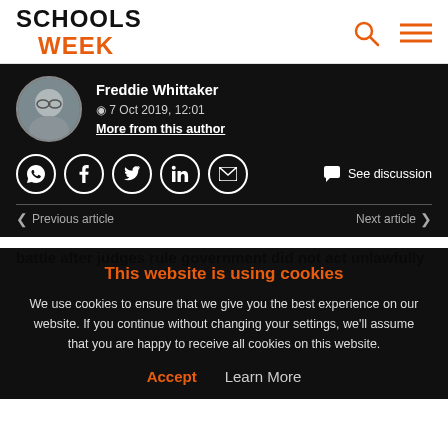SCHOOLS WEEK
Freddie Whittaker
7 Oct 2019, 12:01
More from this author
See discussion
Previous article   Next article
This website is using cookies
We use cookies to ensure that we give you the best experience on our website. If you continue without changing your settings, we'll assume that you are happy to receive all cookies on this website.
Accept   Learn More
battle after judges rule government did not act unlawfully
For the ...